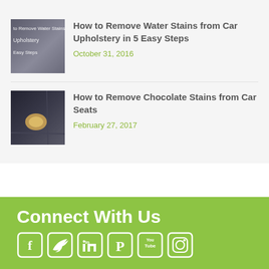[Figure (photo): Thumbnail image of car upholstery with text overlay reading 'how to Remove Water Stains from Upholstery in 5 Easy Steps']
How to Remove Water Stains from Car Upholstery in 5 Easy Steps
October 31, 2016
[Figure (photo): Thumbnail image of dark car seat fabric with a light-colored chocolate stain visible]
How to Remove Chocolate Stains from Car Seats
February 27, 2017
Connect With Us
[Figure (illustration): Social media icons: Facebook, Twitter, LinkedIn, Pinterest, YouTube, Instagram in white on green background]